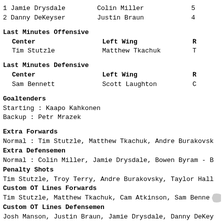1 Jamie Drysdale   Colin Miller   5
2 Danny DeKeyser   Justin Braun   4
Last Minutes Offensive
Center   Left Wing   R
Tim Stutzle   Matthew Tkachuk   T
Last Minutes Defensive
Center   Left Wing   R
Sam Bennett   Scott Laughton   C
Goaltenders
Starting : Kaapo Kahkonen
Backup : Petr Mrazek
Extra Forwards
Normal : Tim Stutzle, Matthew Tkachuk, Andre Burakovsk
Extra Defensemen
Normal : Colin Miller, Jamie Drysdale, Bowen Byram - B
Penalty Shots
Tim Stutzle, Troy Terry, Andre Burakovsky, Taylor Hall
Custom OT Lines Forwards
Tim Stutzle, Matthew Tkachuk, Cam Atkinson, Sam Benne
Custom OT Lines Defensemen
Josh Manson, Justin Braun, Jamie Drysdale, Danny DeKey